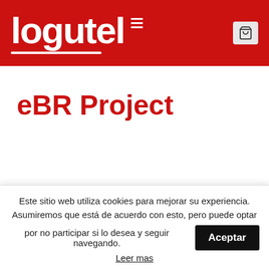[Figure (logo): Logutel logo in white text on red background header, with hamburger menu icon and shopping cart icon]
eBR Project
eBR Project (partially visible section header below)
Este sitio web utiliza cookies para mejorar su experiencia. Asumiremos que está de acuerdo con esto, pero puede optar por no participar si lo desea y seguir navegando.
Aceptar
Leer mas